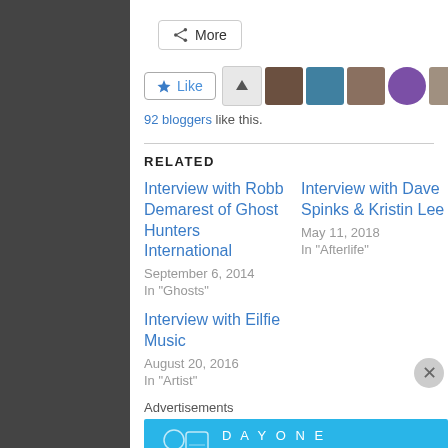[Figure (screenshot): More share button with icon]
[Figure (screenshot): Like button with star icon, followed by a row of blogger avatar thumbnails including an up-arrow, photos, and a purple circle avatar]
92 bloggers like this.
RELATED
Interview with Robb Demarest of Ghost Hunters International
September 6, 2014
In "Ghosts"
Interview with Dave Spinks & Kristin Lee
May 11, 2018
In "Afterlife"
Interview with Eilfie Music
August 20, 2016
In "Artist"
Advertisements
[Figure (screenshot): Day One app advertisement banner: light blue background with Day One branding and text 'The only journaling app you'll ever need.']